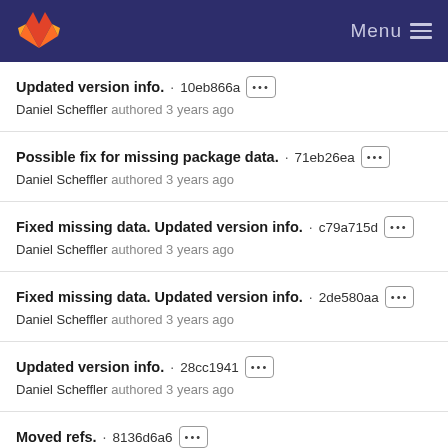GitLab Menu
Updated version info. · 10eb866a ··· Daniel Scheffler authored 3 years ago
Possible fix for missing package data. · 71eb26ea ··· Daniel Scheffler authored 3 years ago
Fixed missing data. Updated version info. · c79a715d ··· Daniel Scheffler authored 3 years ago
Fixed missing data. Updated version info. · 2de580aa ··· Daniel Scheffler authored 3 years ago
Updated version info. · 28cc1941 ··· Daniel Scheffler authored 3 years ago
Moved refs. · 8136d6a6 ··· Daniel Scheffler authored 3 years ago